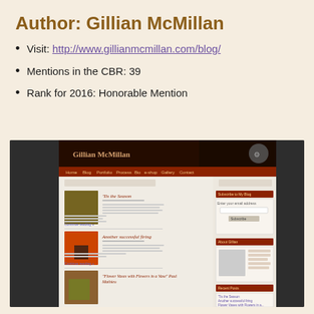Author: Gillian McMillan
Visit: http://www.gillianmcmillan.com/blog/
Mentions in the CBR: 39
Rank for 2016: Honorable Mention
[Figure (screenshot): Screenshot of Gillian McMillan's blog website showing the header 'Gillian McMillan', navigation bar, blog posts including 'Tis the Season', 'Another successful firing', and 'Flower Vases with Flowers in a Vase Paul Mathieu', with a sidebar showing subscribe and about sections.]